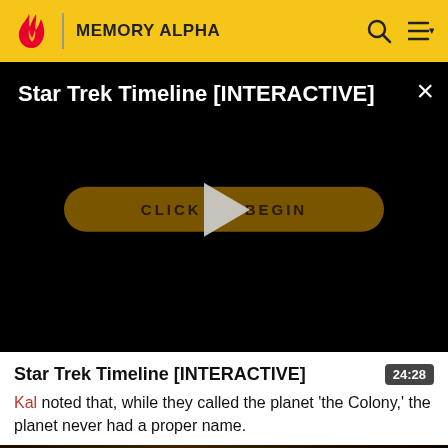MEMORY ALPHA
[Figure (screenshot): Video player overlay on dark background showing title 'Star Trek Timeline [INTERACTIVE]' with a golden 'CLICK TO BEGIN' button and a large play triangle icon, plus a close X button]
Star Trek Timeline [INTERACTIVE]  24:28
Kal noted that, while they called the planet 'the Colony,' the planet never had a proper name.
[Figure (photo): Partial dark image at the bottom of the page, appears to be a scene from Star Trek]